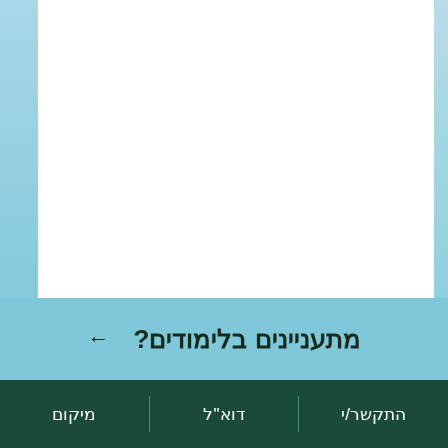◄ קורות חיים
◄ פירסומים
◄ פרסומים בהכנה
מתעניינים בלימודים? ←
התקשר/י | דוא"ל | מיקום